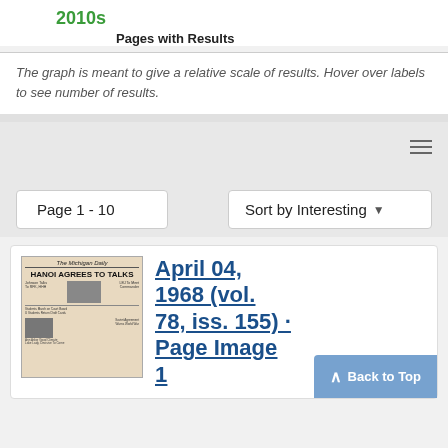2010s
Pages with Results
The graph is meant to give a relative scale of results. Hover over labels to see number of results.
Page 1 - 10
Sort by Interesting
[Figure (photo): Thumbnail of The Michigan Daily newspaper front page with headline HANOI AGREES TO TALKS]
April 04, 1968 (vol. 78, iss. 155) · Page Image 1